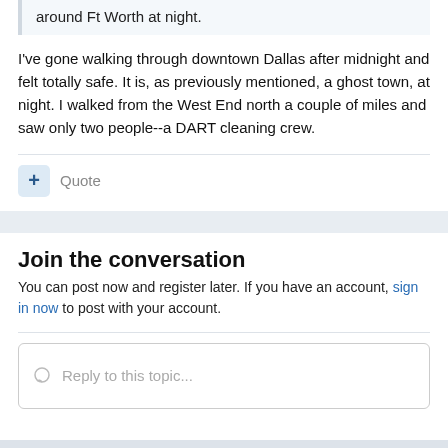around Ft Worth at night.
I've gone walking through downtown Dallas after midnight and felt totally safe. It is, as previously mentioned, a ghost town, at night. I walked from the West End north a couple of miles and saw only two people--a DART cleaning crew.
+ Quote
Join the conversation
You can post now and register later. If you have an account, sign in now to post with your account.
Reply to this topic...